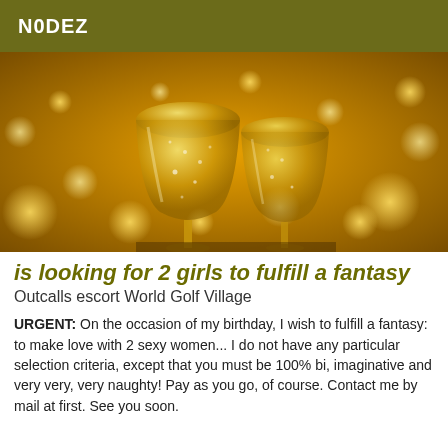N0DEZ
[Figure (photo): Two champagne flutes filled with sparkling wine against a warm golden bokeh background with glowing lights]
is looking for 2 girls to fulfill a fantasy
Outcalls escort World Golf Village
URGENT: On the occasion of my birthday, I wish to fulfill a fantasy: to make love with 2 sexy women... I do not have any particular selection criteria, except that you must be 100% bi, imaginative and very very, very naughty! Pay as you go, of course. Contact me by mail at first. See you soon.